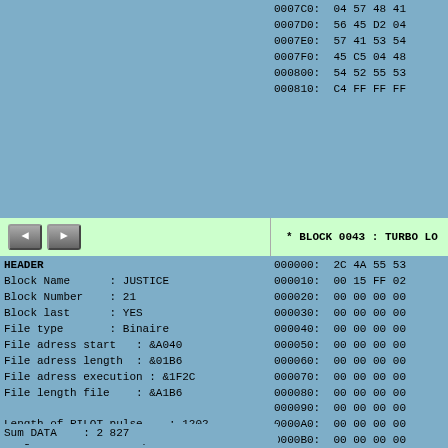0007C0: 04 57 48 41
0007D0: 56 45 D2 04
0007E0: 57 41 53 54
0007F0: 45 C5 04 48
000800: 54 52 55 53
000810: C4 FF FF FF
[Figure (screenshot): Navigation buttons (back and forward arrows) on a green background bar, with text '* BLOCK 0043 : TURBO LO' on the right]
HEADER
Block Name      : JUSTICE
Block Number    : 21
Block last      : YES
File type       : Binaire
File adress start  : &A040
File adress length : &01B6
File adress execution : &1F2C
File length file  : &A1B6

Length of PILOT pulse   : 1202
Length of SYNC First pulse : 596
Length of SYNC Second pulse : 596
Length of ZERO bit pulse  : 657
Length of ONE bit pulse   : 1198
Length of PILOT tone    : 4097
Used bits in last byte   : 8 OK
Pause After this block   : 19ms
Data              : 263 bytes
Total size          : 282 bytes
000000: 2C 4A 55 53
000010: 00 15 FF 02
000020: 00 00 00 00
000030: 00 00 00 00
000040: 00 00 00 00
000050: 00 00 00 00
000060: 00 00 00 00
000070: 00 00 00 00
000080: 00 00 00 00
000090: 00 00 00 00
0000A0: 00 00 00 00
0000B0: 00 00 00 00
0000C0: 00 00 00 00
0000D0: 00 00 00 00
0000E0: 00 00 00 00
0000F0: 00 00 00 00
000100: 00 21 5C FF
Sum DATA    : 2 827